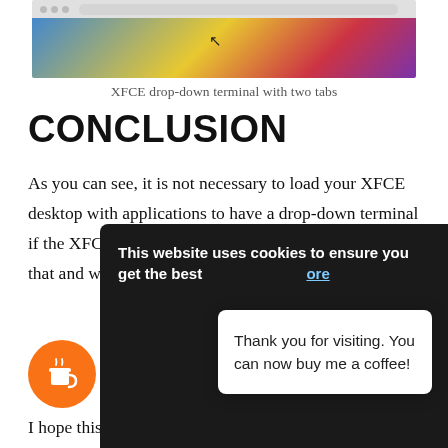[Figure (screenshot): Screenshot of XFCE drop-down terminal with two tabs, showing a colorful desktop background with a top bar]
XFCE drop-down terminal with two tabs
CONCLUSION
As you can see, it is not necessary to load your XFCE desktop with applications to have a drop-down terminal if the XFCE default terminal can do it. Now, you know that and with this drop-down configuration, yo
This website uses cookies to ensure you get the best
Thank you for visiting. You can now buy me a coffee!
I hope this tip was useful for you. So, did you know